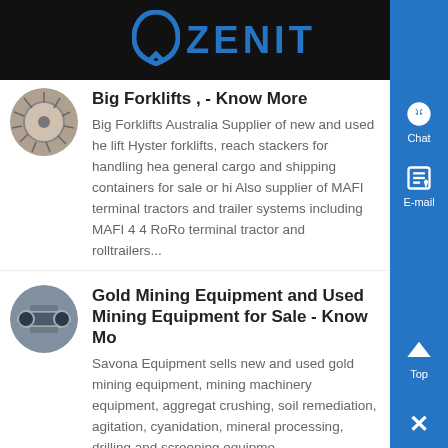[Figure (logo): Zenit company logo with blue arch icon and ZENIT text on dark background]
Big Forklifts , - Know More
Big Forklifts Australia Supplier of new and used heavy lift Hyster forklifts, reach stackers for handling heavy general cargo and shipping containers for sale or hire. Also supplier of MAFI terminal tractors and trailer systems including MAFI 4 4 RoRo terminal tractors and rolltrailers...
Gold Mining Equipment and Used Mining Equipment for Sale - Know Mo
Savona Equipment sells new and used gold mining equipment, mining machinery equipment, aggregate crushing, soil remediation, agitation, cyanidation, mineral processing, drilling and screening equipme...